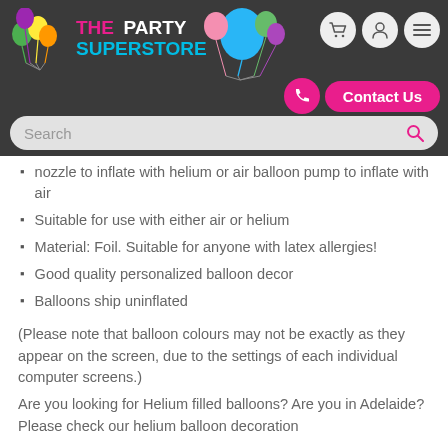[Figure (logo): The Party Superstore logo with colorful balloons on dark background header]
nozzle to inflate with helium or air balloon pump to inflate with air
Suitable for use with either air or helium
Material: Foil. Suitable for anyone with latex allergies!
Good quality personalized balloon decor
Balloons ship uninflated
(Please note that balloon colours may not be exactly as they appear on the screen, due to the settings of each individual computer screens.)
Are you looking for Helium filled balloons? Are you in Adelaide? Please check our helium balloon decoration